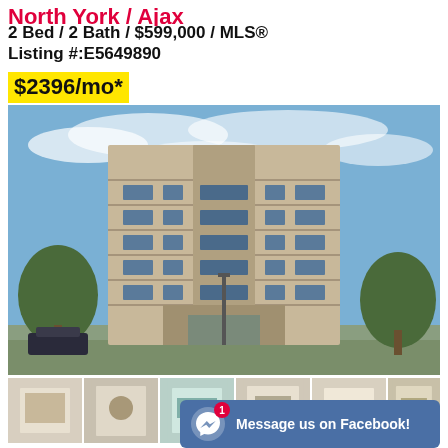North York / Ajax
2 Bed / 2 Bath / $599,000 / MLS® Listing #:E5649890
$2396/mo*
[Figure (photo): Exterior photo of a multi-story condominium building with balconies, blue sky with clouds, trees on either side, and parked cars in front.]
[Figure (photo): Grid of interior thumbnail photos showing various rooms of the condo unit including living room, kitchen, bathroom, and hallways.]
Message us on Facebook!